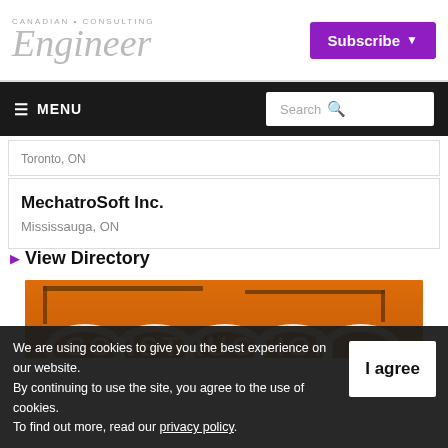Canadian Consulting Engineer — Subscribe
☰ MENU   Search
Toronto, ON
MechatroSoft Inc.
Mississauga, ON
▶ View Directory
[Figure (illustration): Orange-toned construction site illustration with cranes and partial text reading CONSTRUCTION]
We are using cookies to give you the best experience on our website. By continuing to use the site, you agree to the use of cookies. To find out more, read our privacy policy.